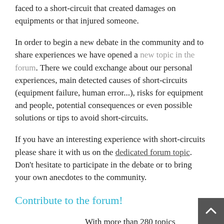faced to a short-circuit that created damages on equipments or that injured someone.
In order to begin a new debate in the community and to share experiences we have opened a new topic in the forum. There we could exchange about our personal experiences, main detected causes of short-circuits (equipment failure, human error...), risks for equipment and people, potential consequences or even possible solutions or tips to avoid short-circuits.
If you have an interesting experience with short-circuits please share it with us on the dedicated forum topic. Don't hesitate to participate in the debate or to bring your own anecdotes to the community.
Contribute to the forum!
With more than 280 topics and more than 950 posts, our forum is really active and that is because of you!